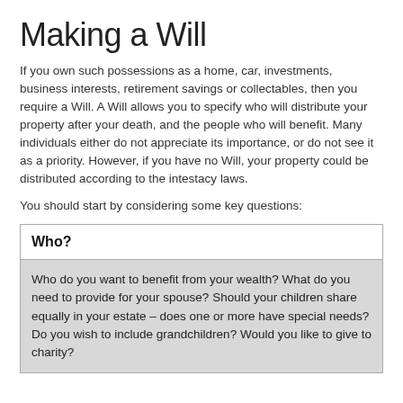Making a Will
If you own such possessions as a home, car, investments, business interests, retirement savings or collectables, then you require a Will. A Will allows you to specify who will distribute your property after your death, and the people who will benefit. Many individuals either do not appreciate its importance, or do not see it as a priority. However, if you have no Will, your property could be distributed according to the intestacy laws.
You should start by considering some key questions:
| Who? |
| --- |
| Who do you want to benefit from your wealth? What do you need to provide for your spouse? Should your children share equally in your estate – does one or more have special needs? Do you wish to include grandchildren? Would you like to give to charity? |